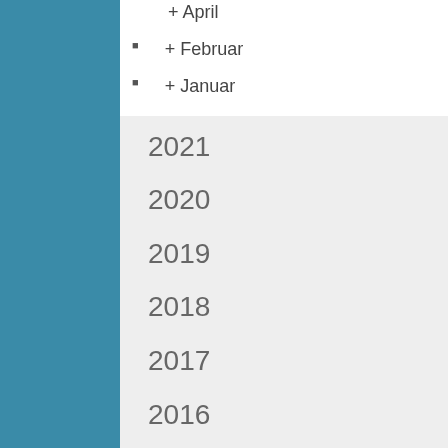+ April (1)
+ Februar (1)
+ Januar (4)
2021
2020
2019
2018
2017
2016
2015
2014
2013